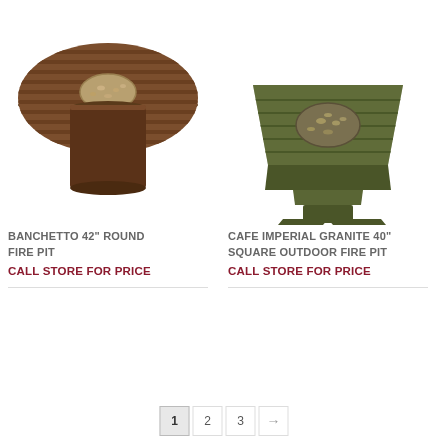[Figure (photo): Banchetto 42 inch round fire pit with dark brown slatted round top and cylindrical base, filled with fire glass in center]
[Figure (photo): Cafe Imperial Granite 40 inch square outdoor fire pit with dark olive/green square top and pedestal base, filled with fire glass in center]
BANCHETTO 42" ROUND FIRE PIT
CALL STORE FOR PRICE
CAFE IMPERIAL GRANITE 40" SQUARE OUTDOOR FIRE PIT
CALL STORE FOR PRICE
1  2  3  →